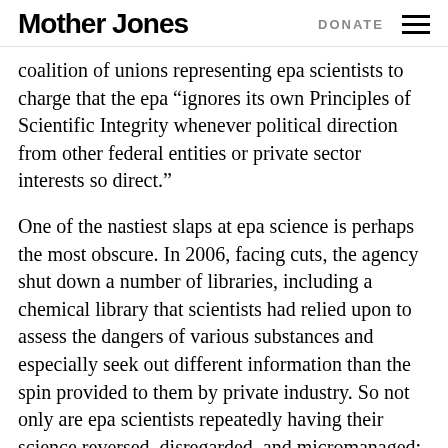Mother Jones   DONATE
coalition of unions representing epa scientists to charge that the epa “ignores its own Principles of Scientific Integrity whenever political direction from other federal entities or private sector interests so direct.”
One of the nastiest slaps at epa science is perhaps the most obscure. In 2006, facing cuts, the agency shut down a number of libraries, including a chemical library that scientists had relied upon to assess the dangers of various substances and especially seek out different information than the spin provided to them by private industry. So not only are epa scientists repeatedly having their science reversed, disregarded, and micromanaged;